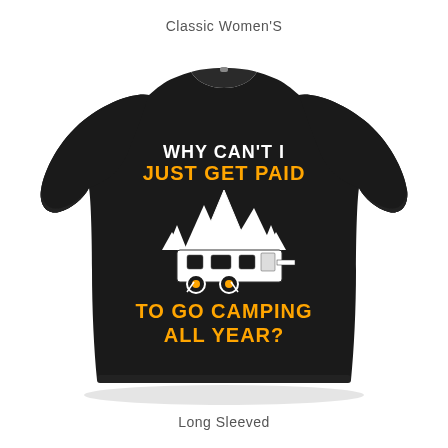Classic Women'S
[Figure (photo): Black long-sleeved women's t-shirt with graphic print reading 'WHY CAN'T I JUST GET PAID TO GO CAMPING ALL YEAR?' with a camping trailer and mountain/forest illustration in orange and white.]
Long Sleeved